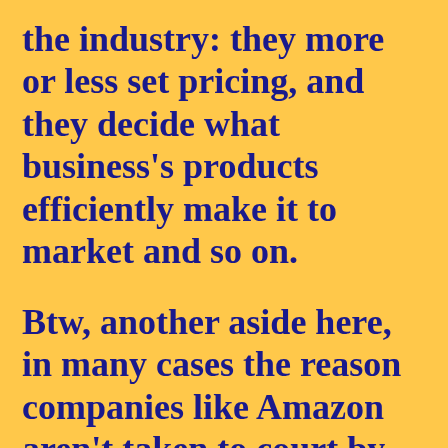the industry: they more or less set pricing, and they decide what business's products efficiently make it to market and so on.
Btw, another aside here, in many cases the reason companies like Amazon aren't taken to court by the federal government is because there's somewhat of a Washington